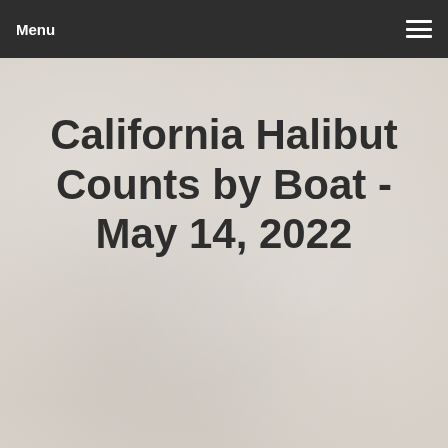Menu
California Halibut Counts by Boat - May 14, 2022